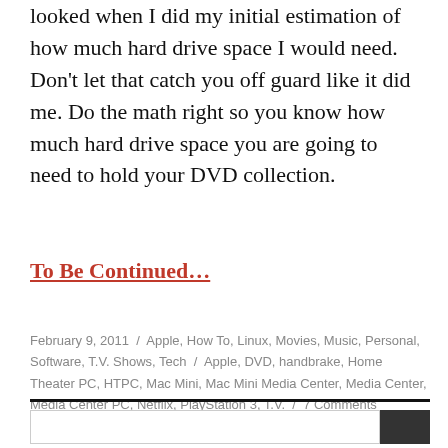looked when I did my initial estimation of how much hard drive space I would need. Don’t let that catch you off guard like it did me. Do the math right so you know how much hard drive space you are going to need to hold your DVD collection.
To Be Continued…
February 9, 2011 / Apple, How To, Linux, Movies, Music, Personal, Software, T.V. Shows, Tech / Apple, DVD, handbrake, Home Theater PC, HTPC, Mac Mini, Mac Mini Media Center, Media Center, Media Center PC, Netflix, PlayStation 3, T.V. / 7 Comments